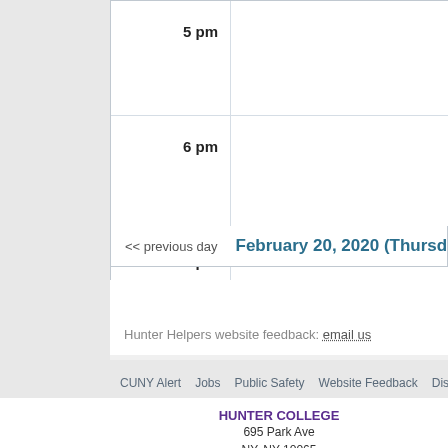| Time | Events |
| --- | --- |
| 5 pm |  |
| 6 pm |  |
| 7 pm |  |
<< previous day   February 20, 2020 (Thursday)
Hunter Helpers website feedback: email us
CUNY Alert   Jobs   Public Safety   Website Feedback   Disclaimer   Privacy P...
HUNTER COLLEGE
695 Park Ave
NY, NY 10065
212.772.4000